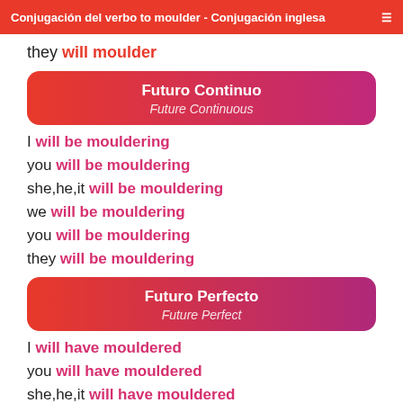Conjugación del verbo to moulder - Conjugación inglesa
they will moulder
Futuro Continuo / Future Continuous
I will be mouldering
you will be mouldering
she,he,it will be mouldering
we will be mouldering
you will be mouldering
they will be mouldering
Futuro Perfecto / Future Perfect
I will have mouldered
you will have mouldered
she,he,it will have mouldered
we will have mouldered